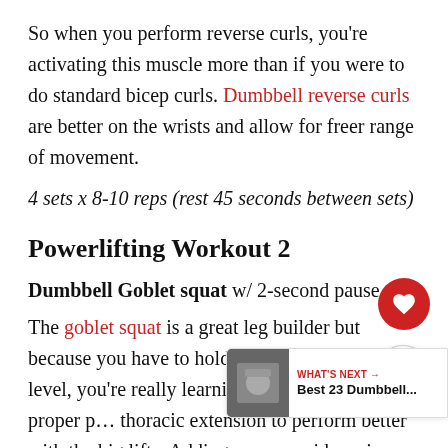So when you perform reverse curls, you're activating this muscle more than if you were to do standard bicep curls. Dumbbell reverse curls are better on the wrists and allow for freer range of movement.
4 sets x 8-10 reps (rest 45 seconds between sets)
Powerlifting Workout 2
Dumbbell Goblet squat w/ 2-second pause
The goblet squat is a great leg builder but because you have to hold the dumbbell at chest level, you're really learning how to maintain proper p… thoracic extension to perform better with the big lifts. Adding a pause mid-rep is a great way to improve…